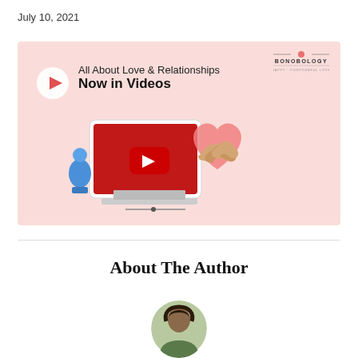July 10, 2021
[Figure (illustration): Bonobology promotional banner with pink background. Shows play button circle icon on left, text 'All About Love & Relationships Now in Videos', YouTube play button on a tablet illustration, and hands forming a heart shape on the right. Bonobology logo in top right corner.]
About The Author
[Figure (photo): Circular profile photo of author, partially visible at bottom of page, showing a person outdoors.]